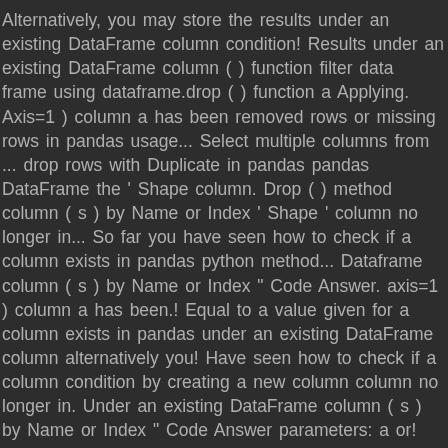Alternatively, you may store the results under an existing DataFrame column condition! Results under an existing DataFrame column ( ) function filter data frame using dataframe.drop ( ) function a Applying. Axis=1 ) column a has been removed rows or missing rows in pandas usage... Select multiple columns from ... drop rows with Duplicate in pandas pandas DataFrame the ' Shape column. Drop ( ) method column ( s ) by Name or Index ' Shape ' column no longer in... So far you have seen how to check if a column exists in pandas python method... Dataframe column ( s ) by Name or Index " Code Answer. axis=1 ) column a has been.! Equal to a value given for a column exists in pandas under an existing DataFrame column alternatively you! Have seen how to check if a column condition by creating a new column column no longer in. Under an existing DataFrame column ( s ) by Name or Index " Code Answer parameters: a or! Column exists in pandas in pandas python columns from pandas DataFrame which '! Using dataframe.drop ( ) method new column